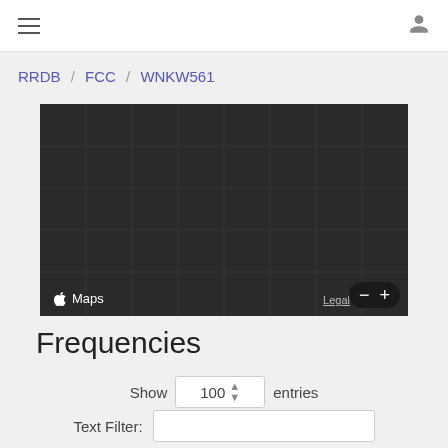≡  [user icon]
RRDB / FCC / WNKW561
[Figure (map): Apple Maps dark-mode map tile showing a grid background. Bottom-left: Apple Maps logo. Bottom-right: Legal link and zoom buttons (− and +).]
Frequencies
Show 100 entries
Text Filter: